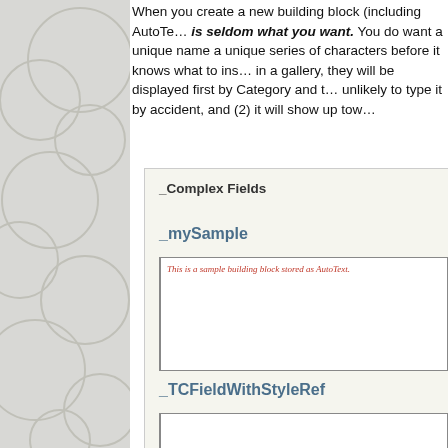When you create a new building block (including AutoText), the name is seldom what you want. You do want a unique name — a unique series of characters before it knows what to insert — in a gallery, they will be displayed first by Category and then unlikely to type it by accident, and (2) it will show up tow…
[Figure (screenshot): A gallery panel showing building block entries: category '_Complex Fields', entry '_mySample' with a preview box containing red italic text 'This is a sample building block stored as AutoText.', and entry '_TCFieldWithStyleRef' with an empty preview box below.]